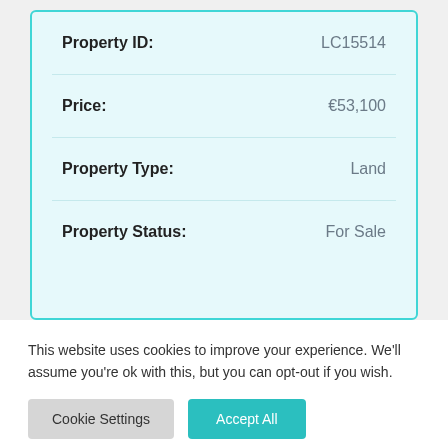| Property | Value |
| --- | --- |
| Property ID: | LC15514 |
| Price: | €53,100 |
| Property Type: | Land |
| Property Status: | For Sale |
This website uses cookies to improve your experience. We'll assume you're ok with this, but you can opt-out if you wish.
Cookie Settings | Accept All